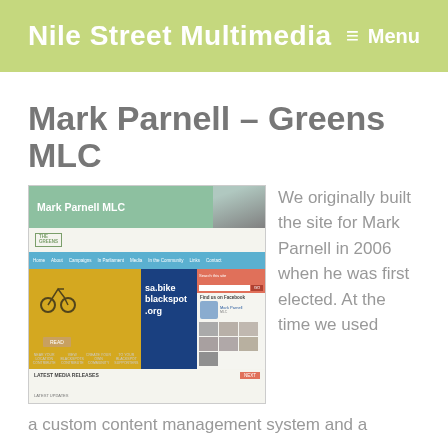Nile Street Multimedia  Menu
Mark Parnell – Greens MLC
[Figure (screenshot): Screenshot of Mark Parnell MLC website showing header with his name and photo, navigation bar, sa.bike blackspot.org campaign image, sidebar with Facebook section and photo grid, and Latest Media Releases section at bottom.]
We originally built the site for Mark Parnell in 2006 when he was first elected. At the time we used a custom content management system and a